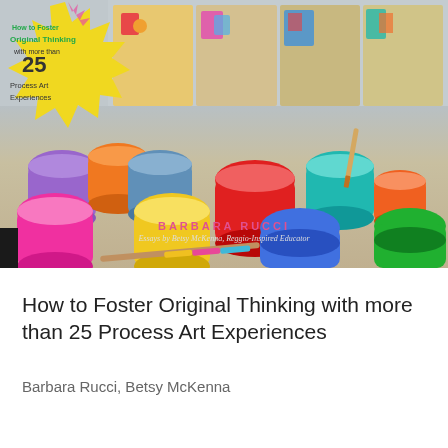[Figure (photo): Book cover image showing colorful children's art pieces on top and paint jars/paint cups in bright colors (pink, orange, purple, yellow, red, teal, blue, green, orange) with paintbrushes on a table surface. Yellow starburst badge on top-left reads 'How to Foster Original Thinking with more than 25 Process Art Experiences'. Author name 'BARBARA RUCCI' and subtitle 'Essays by Betsy McKenna, Reggio-Inspired Educator' overlaid on image.]
How to Foster Original Thinking with more than 25 Process Art Experiences
Barbara Rucci, Betsy McKenna